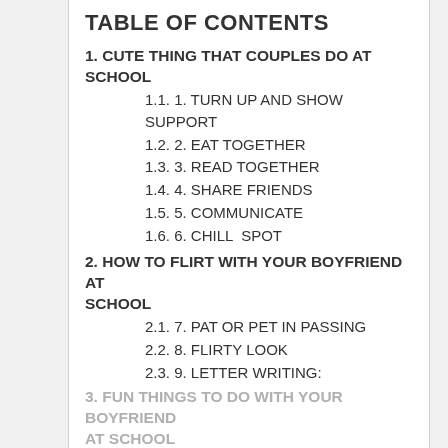TABLE OF CONTENTS
1. CUTE THING THAT COUPLES DO AT SCHOOL
1.1. 1. TURN UP AND SHOW SUPPORT
1.2. 2. EAT TOGETHER
1.3. 3. READ TOGETHER
1.4. 4. SHARE FRIENDS
1.5. 5. COMMUNICATE
1.6. 6. CHILL  SPOT
2. HOW TO FLIRT WITH YOUR BOYFRIEND AT SCHOOL
2.1. 7. PAT OR PET IN PASSING
2.2. 8. FLIRTY LOOK
2.3. 9. LETTER WRITING:
2.4. 10. ORIGAMI NOTES
2.5. 11. CODED WORDS/ SECRET LANGUAGE
3. FUN THINGS TO DO WITH YOUR BOYFRIEND AT SCHOOL